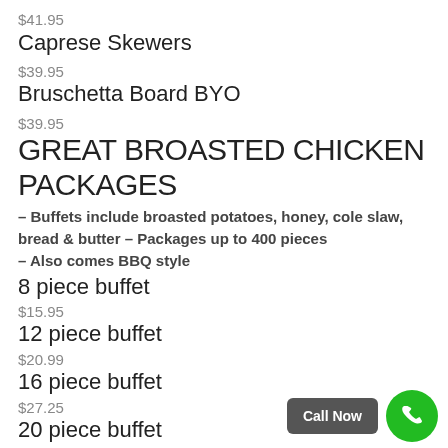$41.95
Caprese Skewers
$39.95
Bruschetta Board BYO
$39.95
GREAT BROASTED CHICKEN PACKAGES
– Buffets include broasted potatoes, honey, cole slaw, bread & butter – Packages up to 400 pieces – Also comes BBQ style
8 piece buffet
$15.95
12 piece buffet
$20.99
16 piece buffet
$27.25
20 piece buffet